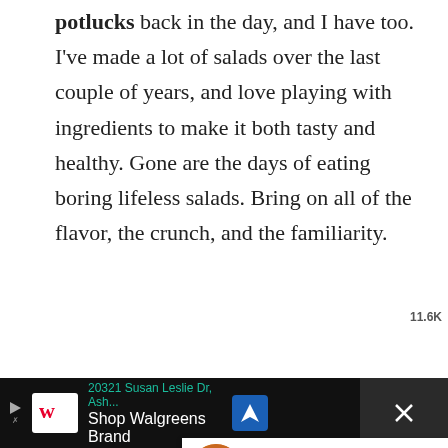potlucks back in the day, and I have too. I've made a lot of salads over the last couple of years, and love playing with ingredients to make it both tasty and healthy. Gone are the days of eating boring lifeless salads. Bring on all of the flavor, the crunch, and the familiarity.
[Figure (screenshot): Social media interaction buttons: heart/like button (teal circle) with count 11.6K, and share button (white circle with share icon)]
[Figure (infographic): WHAT'S NEXT banner with thumbnail image of Cold Ramen Noodle Salad]
[Figure (screenshot): Advertisement bar: Walgreens brand ad showing '20321 Susan Leslie Dr, Ash...' and 'Shop Walgreens Brand' with navigation icon. Close button on right.]